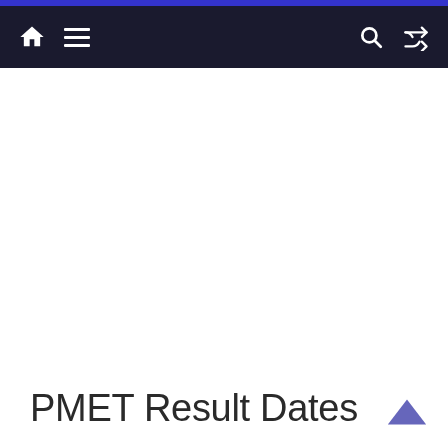Navigation bar with home, menu, search, and shuffle icons
PMET Result Dates